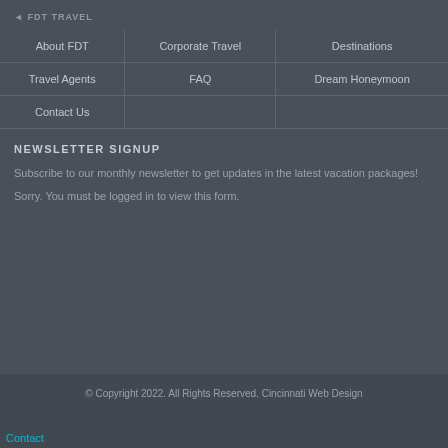About FDT
Corporate Travel
Destinations
Travel Agents
FAQ
Dream Honeymoon
Contact Us
NEWSLETTER SIGNUP
Subscribe to our monthly newsletter to get updates in the latest vacation packages!
Sorry. You must be logged in to view this form.
© Copyright 2022. All Rights Reserved. Cincinnati Web Design
Contact